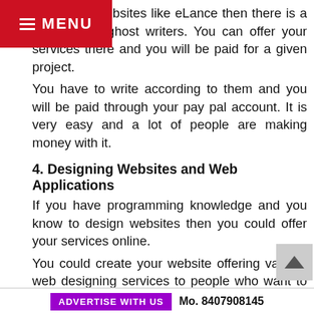If you visit websites like eLance then there is a demand for ghost writers. You can offer your services there and you will be paid for a given project.
You have to write according to them and you will be paid through your pay pal account. It is very easy and a lot of people are making money with it.
4. Designing Websites and Web Applications
If you have programming knowledge and you know to design websites then you could offer your services online.
You could create your website offering various web designing services to people who want to build their website. You need to tell them your fees and other services that you are offering.
Similarly, you could design many other web applications and get paid by a software company. However, you
ADVERTISE WITH US   Mo. 8407908145